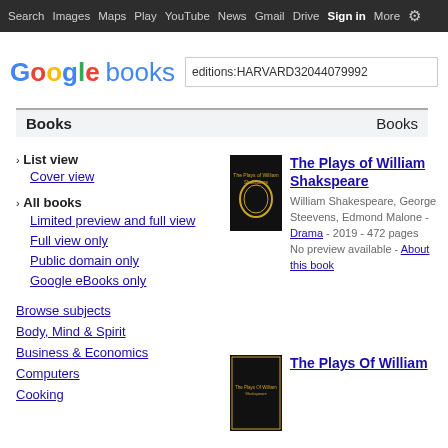Search Images Maps Play YouTube News Gmail Drive More Sign in (gear icon)
[Figure (screenshot): Google Books logo with search box containing 'editions:HARVARD32044079992']
Books  Books
› List view
Cover view
› All books
Limited preview and full view
Full view only
Public domain only
Google eBooks only
Browse subjects
Body, Mind & Spirit
Business & Economics
Computers
Cooking
[Figure (photo): Book cover of The Plays of William Shakspeare - black cover with gold wreath emblem]
The Plays of William Shakspeare
William Shakespeare, George Steevens, Edmond Malone - Drama - 2019 - 472 pages No preview available - About this book
[Figure (photo): Book cover of The Plays Of William - black cover with gold text]
The Plays Of William